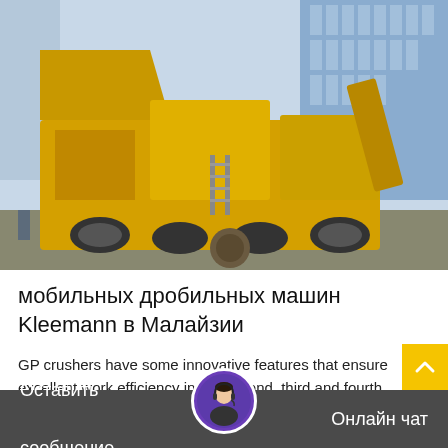[Figure (photo): Large yellow mobile crushing plant machinery (Kleemann mobile crusher) parked in a construction/industrial area with blue glass building in background]
мобильных дробильных машин Kleemann в Малайзии
GP crushers have some innovative features that ensure excellent work efficiency in the second, third and fourth stages of the process. Nordberg GP cone crushers are
Подробнее
Оставить сообщение   Онлайн чат